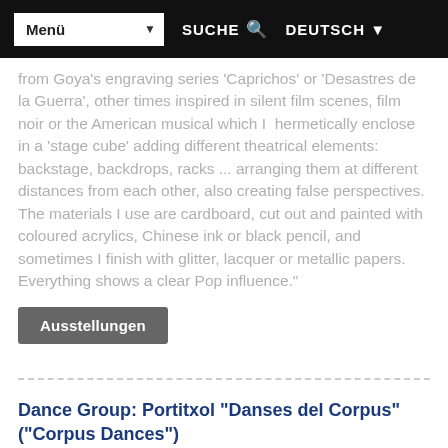Menü  SUCHE  DEUTSCH
from Goya's engraving series 'Caprichos' or 'Desastres de la Guerra', other times inspired in silent film scenes, film noir or the American musical which I  hermetically enclose in a 'stage cube' adding different theatrical elements: backstage, backdrops, racks ... arranging them at different distances from each other, also creating false perspectives. The materials I use are cardboard, cut out and painted with coloured acrylics, Chinese ink or black pencil, and sometimes I finish with glitter, lacquer or metallic papers. Everything shows a clear Pop influence."
Ausstellungen
Dance Group: Portitxol "Danses del Corpus" ("Corpus Dances")
06/06/2021
It is essential to register in advance as a security measure for the Covid-19 by calling the phone. 96 5794344, Monday to Thursday from 8 a.m. to 2 p.m. and Friday from 8 a.m. to 12